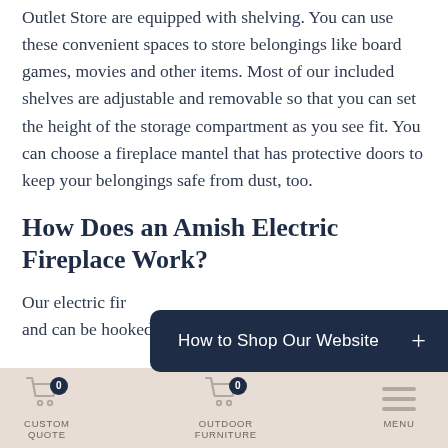Outlet Store are equipped with shelving. You can use these convenient spaces to store belongings like board games, movies and other items. Most of our included shelves are adjustable and removable so that you can set the height of the storage compartment as you see fit. You can choose a fireplace mantel that has protective doors to keep your belongings safe from dust, too.
How Does an Amish Electric Fireplace Work?
Our electric fir... and can be hooked up to switches for an easy
[Figure (screenshot): Dark navy overlay button bar with text 'How to Shop Our Website' and a plus sign on the right]
CUSTOM QUOTE | OUTDOOR FURNITURE | MENU navigation bar with cart icons showing 0 items